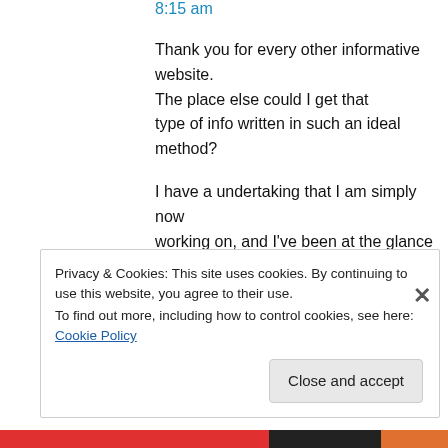8:15 am
Thank you for every other informative website. The place else could I get that type of info written in such an ideal method?

I have a undertaking that I am simply now working on, and I've been at the glance out for such information.
★ Like
Privacy & Cookies: This site uses cookies. By continuing to use this website, you agree to their use.
To find out more, including how to control cookies, see here: Cookie Policy
Close and accept